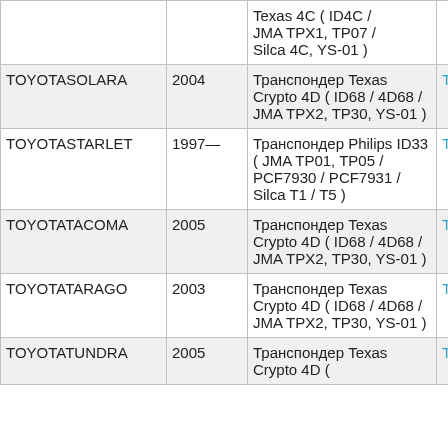| Make/Model | Year | Description | Code |
| --- | --- | --- | --- |
| TOYOTA SOLARA | 2004 | Транспондер Texas Crypto 4D ( ID68 / 4D68 / JMA TPX2, TP30, YS-01 ) | TPX2 |
| TOYOTA STARLET | 1997— | Транспондер Philips ID33 ( JMA TP01, TP05 / PCF7930 / PCF7931 / Silca T1 / T5 ) | T5 |
| TOYOTA TACOMA | 2005 | Транспондер Texas Crypto 4D ( ID68 / 4D68 / JMA TPX2, TP30, YS-01 ) | TPX2 |
| TOYOTA TARAGO | 2003 | Транспондер Texas Crypto 4D ( ID68 / 4D68 / JMA TPX2, TP30, YS-01 ) | TPX2 |
| TOYOTA TUNDRA | 2005 | Транспондер Texas Crypto 4D ( | TPX2 |